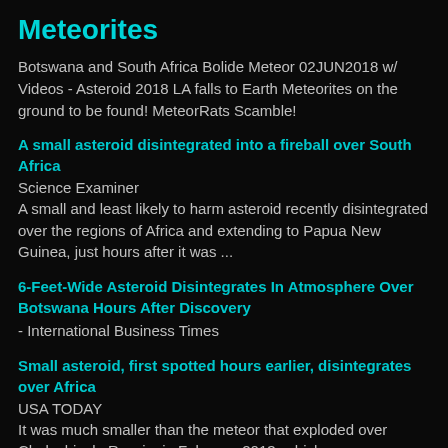Meteorites
Botswana and South Africa Bolide Meteor 02JUN2018 w/ Videos - Asteroid 2018 LA falls to Earth Meteorites on the ground to be found! MeteorRats Scamble!
A small asteroid disintegrated into a fireball over South Africa
Science Examiner
A small and least likely to harm asteroid recently disintegrated over the regions of Africa and extending to Papua New Guinea, just hours after it was ...
6-Feet-Wide Asteroid Disintegrates In Atmosphere Over Botswana Hours After Discovery
- International Business Times
Small asteroid, first spotted hours earlier, disintegrates over Africa
USA TODAY
It was much smaller than the meteor that exploded over Chelyabinsk, Russia, in February 2013, which was an estimated 60 feet wide. That meteor ...